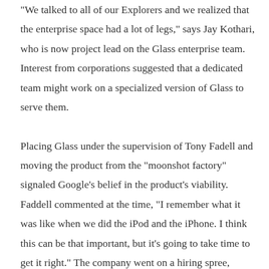"We talked to all of our Explorers and we realized that the enterprise space had a lot of legs," says Jay Kothari, who is now project lead on the Glass enterprise team. Interest from corporations suggested that a dedicated team might work on a specialized version of Glass to serve them.

Placing Glass under the supervision of Tony Fadell and moving the product from the “moonshot factory” signaled Google’s belief in the product’s viability. Faddell commented at the time, “I remember what it was like when we did the iPod and the iPhone. I think this can be that important, but it’s going to take time to get it right.” The company went on a hiring spree, recruiting former developers and hardware engineers from Amazon to build